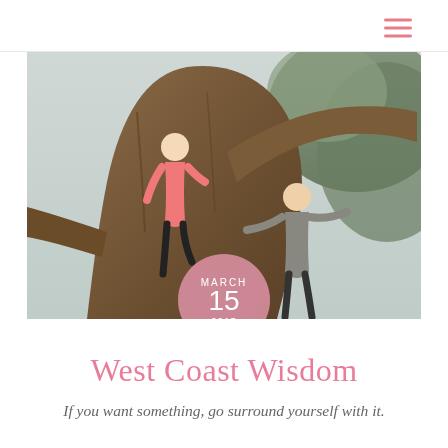[Figure (photo): Two people climbing on a large gnarled tree outdoors; woman in pink top and black leggings on the left, man in gray t-shirt on the right; tree and foliage in background with overcast sky. Date badge overlay showing MARCH 15 2015 in pink circle at bottom center.]
West Coast Wisdom
If you want something, go surround yourself with it.